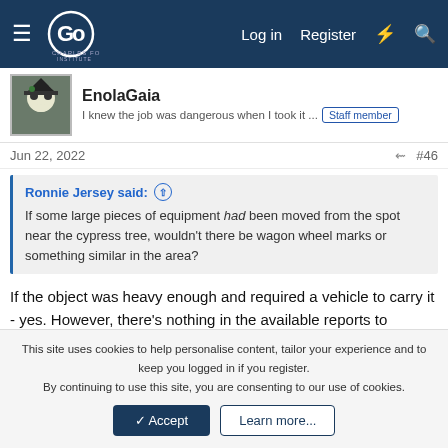Charles Fort Institute forum navigation bar with Log in, Register links
EnolaGaia
I knew the job was dangerous when I took it ... Staff member
Jun 22, 2022 #46
Ronnie Jersey said: ↑
If some large pieces of equipment had been moved from the spot near the cypress tree, wouldn't there be wagon wheel marks or something similar in the area?
If the object was heavy enough and required a vehicle to carry it - yes. However, there's nothing in the available reports to indicate Ms. Lotti confirmed it was a heavy metal object.
This site uses cookies to help personalise content, tailor your experience and to keep you logged in if you register.
By continuing to use this site, you are consenting to our use of cookies.